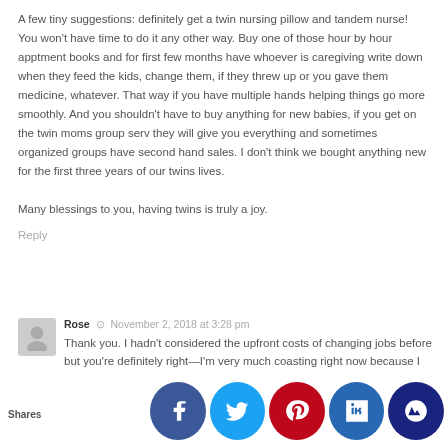A few tiny suggestions: definitely get a twin nursing pillow and tandem nurse! You won't have time to do it any other way. Buy one of those hour by hour apptment books and for first few months have whoever is caregiving write down when they feed the kids, change them, if they threw up or you gave them medicine, whatever. That way if you have multiple hands helping things go more smoothly. And you shouldn't have to buy anything for new babies, if you get on the twin moms group serv they will give you everything and sometimes organized groups have second hand sales. I don't think we bought anything new for the first three years of our twins lives.

Many blessings to you, having twins is truly a joy.
Reply
Rose · November 2, 2018 at 3:28 pm
Thank you. I hadn't considered the upfront costs of changing jobs before but you're definitely right—I'm very much coasting right now because I know everything I have to do. e a jo mostly ing a g sure are gett one once gate. Th actually o